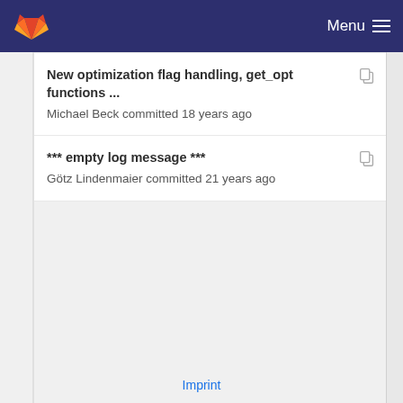Menu
New optimization flag handling, get_opt functions ...
Michael Beck committed 18 years ago
*** empty log message ***
Götz Lindenmaier committed 21 years ago
Imprint